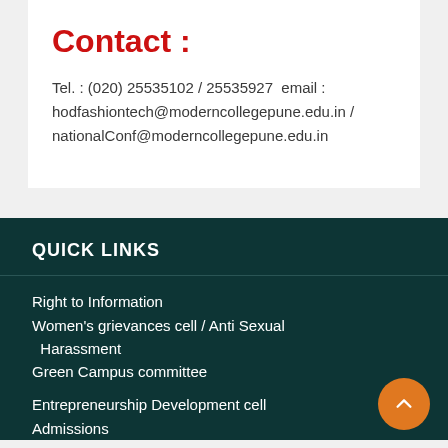Contact  :
Tel. : (020) 25535102 / 25535927  email : hodfashiontech@moderncollegepune.edu.in / nationalConf@moderncollegepune.edu.in
QUICK LINKS
Right to Information
Women's grievances cell / Anti Sexual Harassment
Green Campus committee
Entrepreneurship Development cell
Admissions